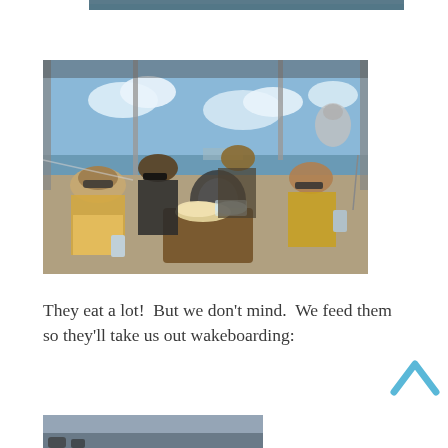[Figure (photo): Partial top edge of a photo showing water/outdoor scene, cropped at top of page]
[Figure (photo): Group of four people sitting on a boat deck on a sunny day. A woman in a yellow bikini top and hat is on the left holding a can. Others are seated around a wooden table with food containers including chips and drinks. Open water and blue sky visible in background.]
They eat a lot!  But we don't mind.  We feed them so they'll take us out wakeboarding:
[Figure (photo): Partial bottom photo showing a water/lake scene, cropped at bottom of page]